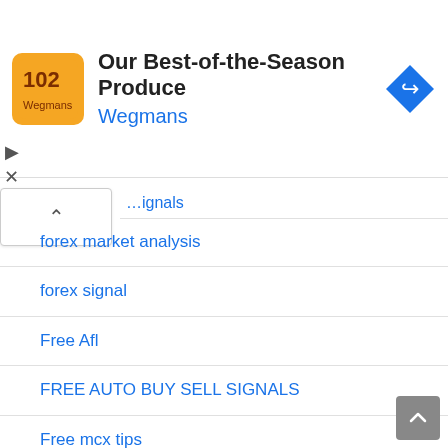[Figure (screenshot): Advertisement banner for Wegmans - 'Our Best-of-the-Season Produce' with orange logo and blue navigation arrow icon]
signals (partial, truncated)
forex market analysis
forex signal
Free Afl
FREE AUTO BUY SELL SIGNALS
Free mcx tips
intraday stock screener
intraday strategy
IPO
Live charts